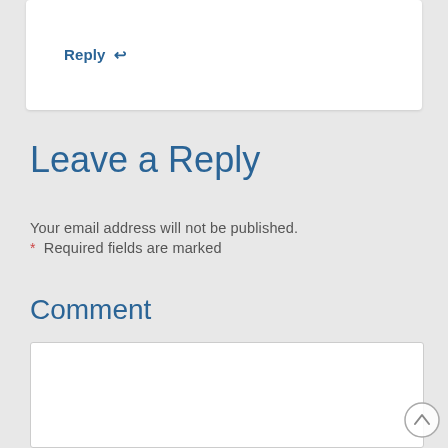Reply ↩
Leave a Reply
Your email address will not be published.
* Required fields are marked
Comment
[Figure (screenshot): Empty comment textarea input box]